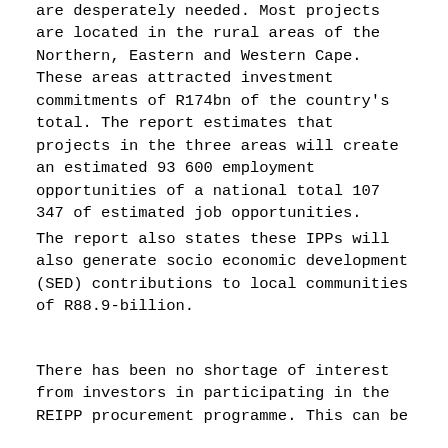are desperately needed. Most projects are located in the rural areas of the Northern, Eastern and Western Cape. These areas attracted investment commitments of R174bn of the country's total. The report estimates that projects in the three areas will create an estimated 93 600 employment opportunities of a national total 107 347 of estimated job opportunities.
The report also states these IPPs will also generate socio economic development (SED) contributions to local communities of R88.9-billion.
There has been no shortage of interest from investors in participating in the REIPP procurement programme. This can be